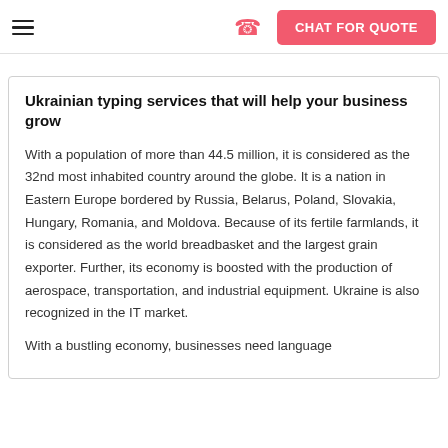CHAT FOR QUOTE
Ukrainian typing services that will help your business grow
With a population of more than 44.5 million, it is considered as the 32nd most inhabited country around the globe. It is a nation in Eastern Europe bordered by Russia, Belarus, Poland, Slovakia, Hungary, Romania, and Moldova. Because of its fertile farmlands, it is considered as the world breadbasket and the largest grain exporter. Further, its economy is boosted with the production of aerospace, transportation, and industrial equipment. Ukraine is also recognized in the IT market.
With a bustling economy, businesses need language